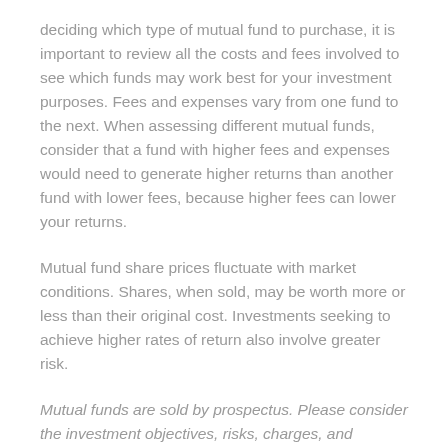deciding which type of mutual fund to purchase, it is important to review all the costs and fees involved to see which funds may work best for your investment purposes. Fees and expenses vary from one fund to the next. When assessing different mutual funds, consider that a fund with higher fees and expenses would need to generate higher returns than another fund with lower fees, because higher fees can lower your returns.
Mutual fund share prices fluctuate with market conditions. Shares, when sold, may be worth more or less than their original cost. Investments seeking to achieve higher rates of return also involve greater risk.
Mutual funds are sold by prospectus. Please consider the investment objectives, risks, charges, and expenses carefully before investing. The prospectus, which contains this and other information about the investment company, can be obtained from your